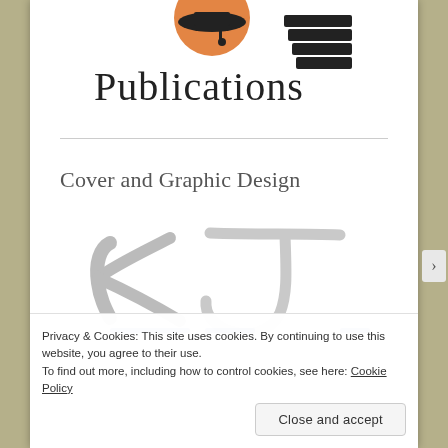[Figure (logo): Publications logo with graduation cap and stacked books icon, black serif text reading 'Publications']
Cover and Graphic Design
[Figure (illustration): Stylized silver/gray cursive signature logo 'KJ' with blue elements partially visible]
Privacy & Cookies: This site uses cookies. By continuing to use this website, you agree to their use.
To find out more, including how to control cookies, see here: Cookie Policy
Close and accept